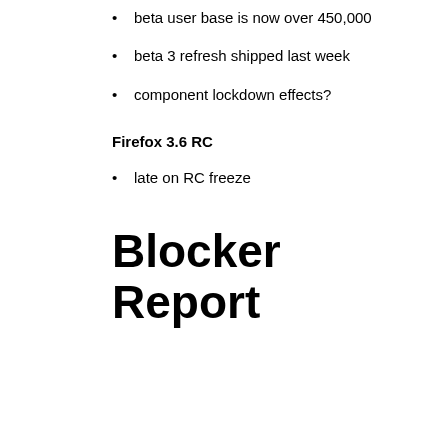beta user base is now over 450,000
beta 3 refresh shipped last week
component lockdown effects?
Firefox 3.6 RC
late on RC freeze
Blocker Report